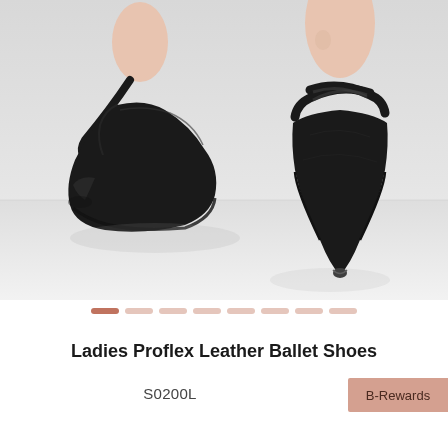[Figure (photo): Product photo of black leather ballet shoes (Ladies Proflex Leather Ballet Shoes S0200L) shown from two angles: left shoe seen from the side/heel showing black leather upper with elastic strap, and right shoe seen from above/front showing the crossed elastic straps across the foot. Light gray background.]
Ladies Proflex Leather Ballet Shoes
S0200L
B-Rewards